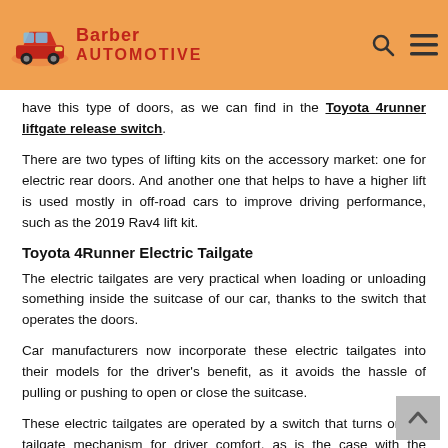Barber AUTOMOTIVE
have this type of doors, as we can find in the Toyota 4runner liftgate release switch.
There are two types of lifting kits on the accessory market: one for electric rear doors. And another one that helps to have a higher lift is used mostly in off-road cars to improve driving performance, such as the 2019 Rav4 lift kit.
Toyota 4Runner Electric Tailgate
The electric tailgates are very practical when loading or unloading something inside the suitcase of our car, thanks to the switch that operates the doors.
Car manufacturers now incorporate these electric tailgates into their models for the driver's benefit, as it avoids the hassle of pulling or pushing to open or close the suitcase.
These electric tailgates are operated by a switch that turns on the tailgate mechanism for driver comfort, as is the case with the Toyota…